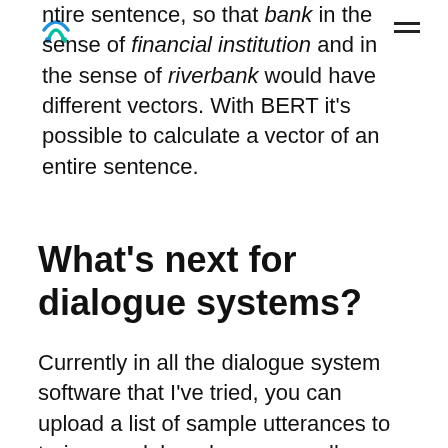entire sentence, so that bank in the sense of financial institution and in the sense of riverbank would have different vectors. With BERT it's possible to calculate a vector of an entire sentence.
What's next for dialogue systems?
Currently in all the dialogue system software that I've tried, you can upload a list of sample utterances to train a model, and you manually define what values